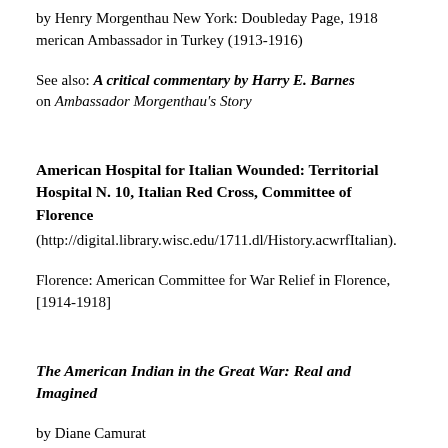by Henry Morgenthau New York: Doubleday Page, 1918 merican Ambassador in Turkey (1913-1916)
See also: A critical commentary by Harry E. Barnes on Ambassador Morgenthau's Story
American Hospital for Italian Wounded: Territorial Hospital N. 10, Italian Red Cross, Committee of Florence
(http://digital.library.wisc.edu/1711.dl/History.acwrfItalian).
Florence: American Committee for War Relief in Florence, [1914-1918]
The American Indian in the Great War: Real and Imagined
by Diane Camurat